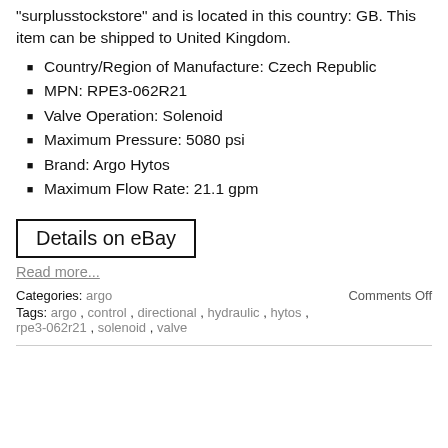“surplusstockstore” and is located in this country: GB. This item can be shipped to United Kingdom.
Country/Region of Manufacture: Czech Republic
MPN: RPE3-062R21
Valve Operation: Solenoid
Maximum Pressure: 5080 psi
Brand: Argo Hytos
Maximum Flow Rate: 21.1 gpm
Details on eBay
Read more...
Categories: argo   Comments Off
Tags: argo , control , directional , hydraulic , hytos , rpe3-062r21 , solenoid , valve